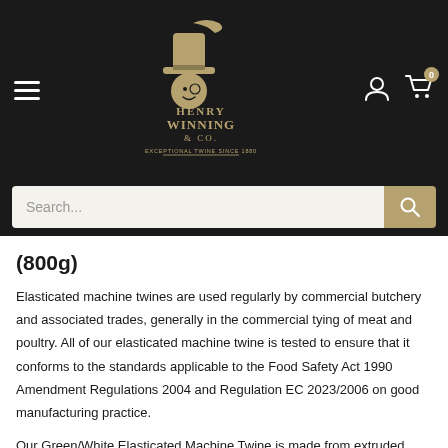[Figure (logo): Henry Winning & Co. logo — an illustrated figure wearing a top hat with decorative serif text reading 'Henry Winning & Co. EXCEPTIONAL TWINE SINCE 1880', gold/khaki color on dark background]
(800g)
Elasticated machine twines are used regularly by commercial butchery and associated trades, generally in the commercial tying of meat and poultry. All of our elasticated machine twine is tested to ensure that it conforms to the standards applicable to the Food Safety Act 1990 Amendment Regulations 2004 and Regulation EC 2023/2006 on good manufacturing practice.
Our Green/White Elasticated Machine Twine is made from extruded food grade rubber, covered with food grade polyester; this produces a food grade synthetic yarn. It is fully roastable and